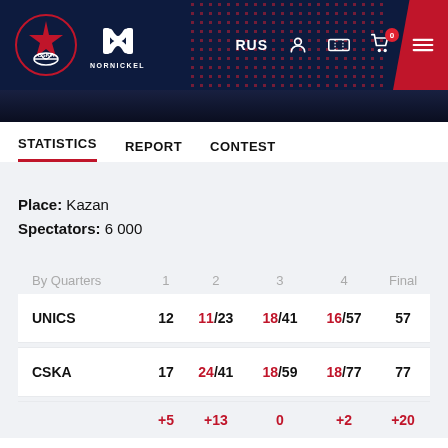[Figure (screenshot): CSKA Moscow website header with logo, Nornickel sponsor logo, RUS language selector, user/ticket/cart icons, and a hamburger menu. Dark navy background with red geometric accents and dot pattern.]
STATISTICS   REPORT   CONTEST
Place: Kazan
Spectators: 6 000
| By Quarters | 1 | 2 | 3 | 4 | Final |
| --- | --- | --- | --- | --- | --- |
| UNICS | 12 | 11/23 | 18/41 | 16/57 | 57 |
| CSKA | 17 | 24/41 | 18/59 | 18/77 | 77 |
|  | +5 | +13 | 0 | +2 | +20 |